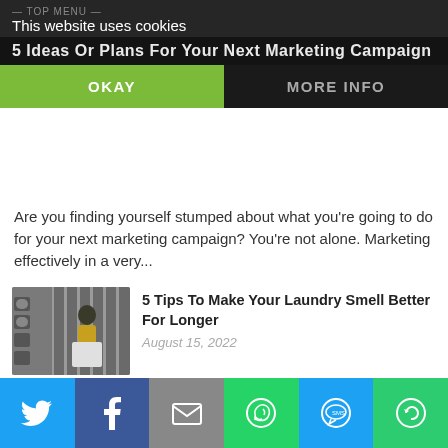5 Ideas Or Plans For Your Next Marketing Campaign
This website uses cookies
OKAY | MORE INFO
Are you finding yourself stumped about what you're going to do for your next marketing campaign? You're not alone. Marketing effectively in a very...
[Figure (photo): Woman in yellow top doing laundry in a laundromat with rows of washing machines]
5 Tips To Make Your Laundry Smell Better For Longer
August 15, 2022
[Figure (photo): Two young women laughing and taking a selfie with a smartphone]
3 Tips To Live Your Best Life Online
August 14, 2022
[Figure (photo): Hand holding a smartphone displaying a QR code]
Unified Payment Interface: Generate UPI QR Code In 5 Simple Steps
Twitter | Facebook | Email | WhatsApp | SMS | Share